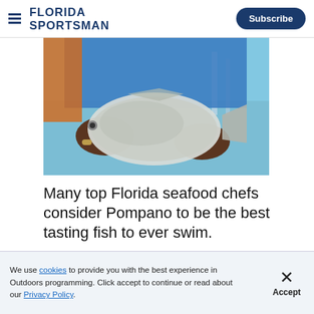FLORIDA SPORTSMAN | Subscribe
[Figure (photo): Person holding a large silvery pompano fish with ocean and dock in the background]
Many top Florida seafood chefs consider Pompano to be the best tasting fish to ever swim.
[Figure (screenshot): Advertisement area showing 'Grilled Gulf Pompano With Shrimp Lemon Butter Sauce' recipe image and Springfield Armory Hellcat ad overlay with close button]
We use cookies to provide you with the best experience in Outdoors programming. Click accept to continue or read about our Privacy Policy.